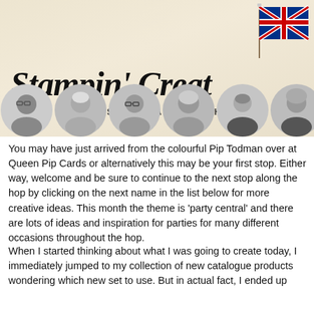[Figure (illustration): Stampin' Creative Design Team Blog Hop banner with UK flag, script logo text, and six circular black-and-white portrait photos of team members]
You may have just arrived from the colourful Pip Todman over at Queen Pip Cards or alternatively this may be your first stop. Either way, welcome and be sure to continue to the next stop along the hop by clicking on the next name in the list below for more creative ideas. This month the theme is 'party central' and there are lots of ideas and inspiration for parties for many different occasions throughout the hop.
When I started thinking about what I was going to create today, I immediately jumped to my collection of new catalogue products wondering which new set to use. But in actual fact, I ended up